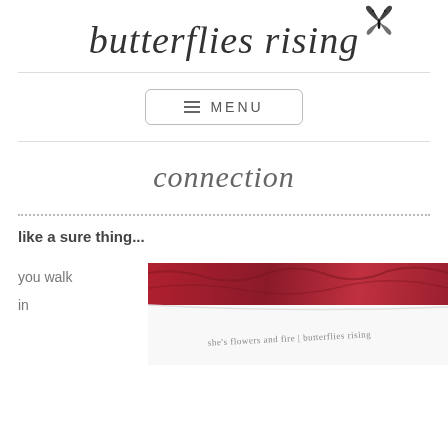[Figure (logo): butterflies rising logo with butterfly graphic and italic script text]
[Figure (other): Menu button with hamburger icon and MENU text]
connection
like a sure thing...
you walk
in
[Figure (photo): Photo of a book or paper with text reading she's flowers and fire | butterflies rising, with a red fabric/background visible above]